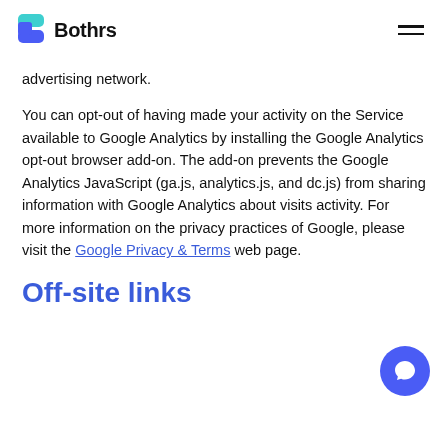Bothrs
advertising network.
You can opt-out of having made your activity on the Service available to Google Analytics by installing the Google Analytics opt-out browser add-on. The add-on prevents the Google Analytics JavaScript (ga.js, analytics.js, and dc.js) from sharing information with Google Analytics about visits activity. For more information on the privacy practices of Google, please visit the Google Privacy & Terms web page.
Off-site links